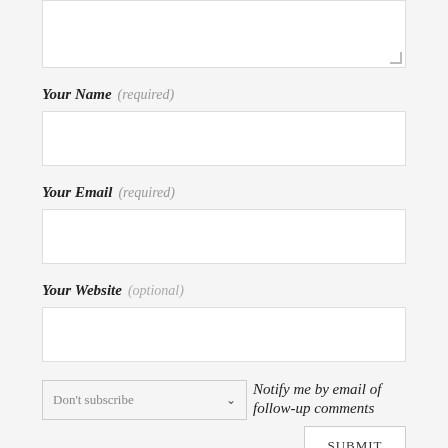[Figure (other): Web form with textarea (partially visible at top), input fields for Your Name (required), Your Email (required), Your Website (optional), a subscription dropdown saying Don't subscribe with a chevron, italic label text 'Notify me by email of follow-up comments', and a SUBMIT button at the bottom right.]
Your Name (required)
Your Email (required)
Your Website (optional)
Don't subscribe   Notify me by email of follow-up comments
SUBMIT